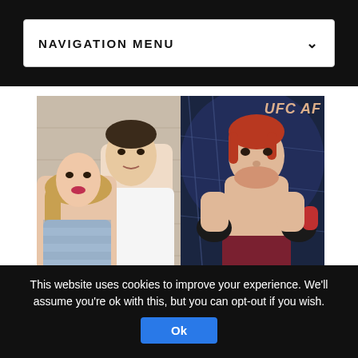NAVIGATION MENU
[Figure (photo): Photo of a woman with blonde hair and a man in a white t-shirt posing together against a white brick wall]
[Figure (photo): UFC fighter with red hair in fighting stance wearing red gloves and dark red shorts inside UFC octagon, with partial UFC AF watermark visible in top right]
ARTICLES BJJ NEWS
This website uses cookies to improve your experience. We'll assume you're ok with this, but you can opt-out if you wish.
Ok